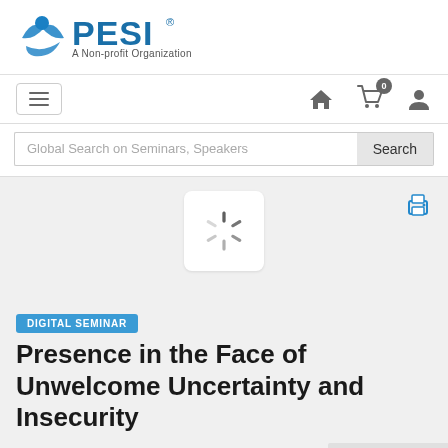[Figure (logo): PESI logo - blue swoosh figure with text PESI and tagline A Non-profit Organization]
[Figure (screenshot): Navigation bar with hamburger menu button, home icon, shopping cart with 0 badge, and user profile icon]
[Figure (screenshot): Search bar with placeholder text 'Global Search on Seminars, Speakers' and Search button]
[Figure (screenshot): Loading spinner icon centered in content area, with printer icon in top right]
DIGITAL SEMINAR
Presence in the Face of Unwelcome Uncertainty and Insecurity
Back to Top